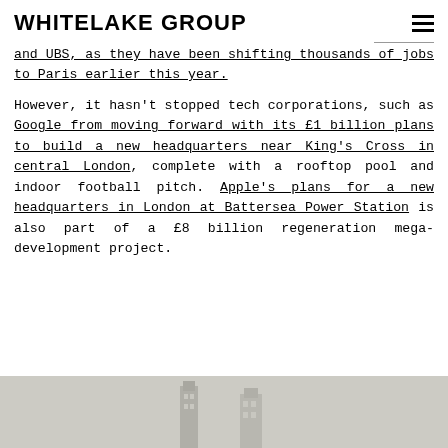WHITELAKE GROUP
and UBS, as they have been shifting thousands of jobs to Paris earlier this year.
However, it hasn't stopped tech corporations, such as Google from moving forward with its £1 billion plans to build a new headquarters near King's Cross in central London, complete with a rooftop pool and indoor football pitch. Apple's plans for a new headquarters in London at Battersea Power Station is also part of a £8 billion regeneration mega-development project.
[Figure (photo): Bottom partial image showing what appears to be buildings or architectural structures against a light background]